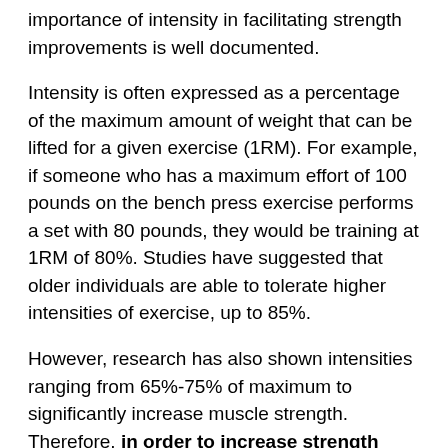importance of intensity in facilitating strength improvements is well documented.
Intensity is often expressed as a percentage of the maximum amount of weight that can be lifted for a given exercise (1RM). For example, if someone who has a maximum effort of 100 pounds on the bench press exercise performs a set with 80 pounds, they would be training at 1RM of 80%. Studies have suggested that older individuals are able to tolerate higher intensities of exercise, up to 85%.
However, research has also shown intensities ranging from 65%-75% of maximum to significantly increase muscle strength. Therefore, in order to increase strength while simultaneously decreasing the risk of musculoskeletal injury that often accompanies higher intensities of resistance training, a low-intensity to moderate-intensity range of